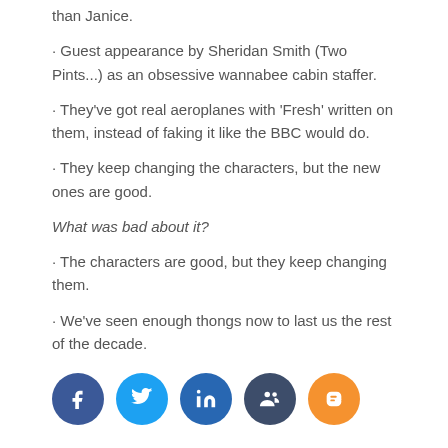than Janice.
• Guest appearance by Sheridan Smith (Two Pints...) as an obsessive wannabee cabin staffer.
• They've got real aeroplanes with 'Fresh' written on them, instead of faking it like the BBC would do.
• They keep changing the characters, but the new ones are good.
What was bad about it?
• The characters are good, but they keep changing them.
• We've seen enough thongs now to last us the rest of the decade.
[Figure (infographic): Row of 5 social media share buttons: Facebook (dark blue), Twitter (light blue), LinkedIn (blue), Myspace/group (dark navy), Blogger (orange)]